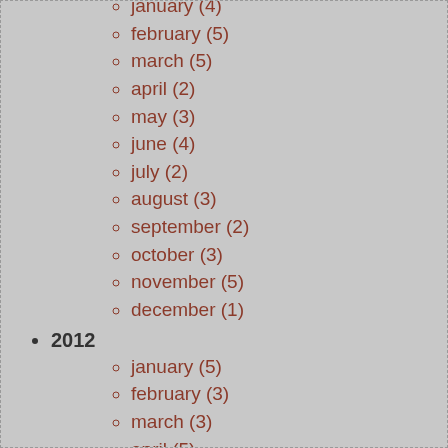january (4)
february (5)
march (5)
april (2)
may (3)
june (4)
july (2)
august (3)
september (2)
october (3)
november (5)
december (1)
2012
january (5)
february (3)
march (3)
april (5)
may (4)
june (6)
july (3)
august (4)
september (5)
october (5)
november (3)
december (7)
2011
january (5)
february (3)
march (2)
may (1)
june (1)
september (4)
october (7)